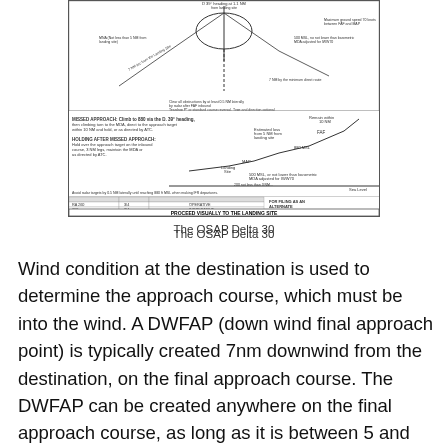[Figure (engineering-diagram): OSAP Delta 30 instrument approach procedure chart showing missed approach instructions, holding after missed approach, MDA/visibility table, altimeter source notes, and 'PROCEED VISUALLY TO THE LANDING SITE' banner at the bottom.]
The OSAP Delta 30
Wind condition at the destination is used to determine the approach course, which must be into the wind. A DWFAP (down wind final approach point) is typically created 7nm downwind from the destination, on the final approach course. The DWFAP can be created anywhere on the final approach course, as long as it is between 5 and 10nm from the destination. Depending on the on